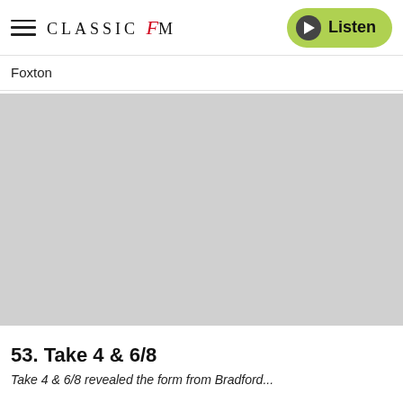CLASSIC fM — Listen
Foxton
[Figure (photo): Gray placeholder image area for article photo]
53. Take 4 & 6/8
Take 4 & 6/8 revealed the form from Bradford...